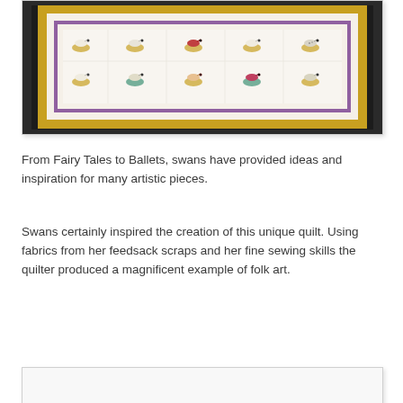[Figure (photo): Photograph of a white quilt with swan appliqués arranged in a grid pattern. The quilt has a yellow and purple border. The swans are depicted in various colors (white, red, black, teal) sitting on water/lily pad shapes in golden-green color.]
From Fairy Tales to Ballets, swans have provided ideas and inspiration for many artistic pieces.
Swans certainly inspired the creation of this unique quilt. Using fabrics from her feedsack scraps and her fine sewing skills the quilter produced a magnificent example of folk art.